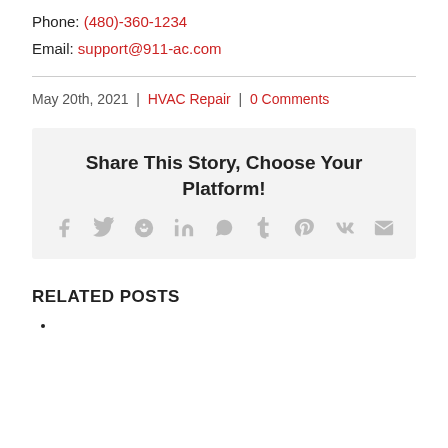Phone: (480)-360-1234
Email: support@911-ac.com
May 20th, 2021 | HVAC Repair | 0 Comments
[Figure (infographic): Share This Story, Choose Your Platform! section with social media icons: facebook, twitter, reddit, linkedin, whatsapp, tumblr, pinterest, vk, email]
RELATED POSTS